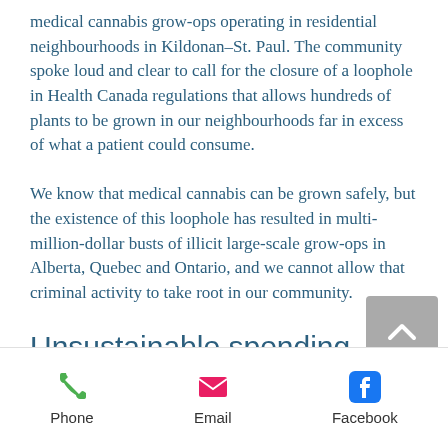medical cannabis grow-ops operating in residential neighbourhoods in Kildonan–St. Paul. The community spoke loud and clear to call for the closure of a loophole in Health Canada regulations that allows hundreds of plants to be grown in our neighbourhoods far in excess of what a patient could consume. We know that medical cannabis can be grown safely, but the existence of this loophole has resulted in multi-million-dollar busts of illicit large-scale grow-ops in Alberta, Quebec and Ontario, and we cannot allow that criminal activity to take root in our community.
Unsustainable spending
Phone | Email | Facebook